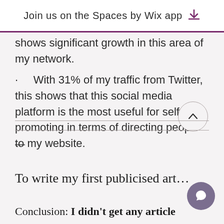Join us on the Spaces by Wix app ↓
shows significant growth in this area of my network.
· With 31% of my traffic from Twitter, this shows that this social media platform is the most useful for self-promoting in terms of directing people to my website.
To write my first publicised art…
Conclusion: I didn't get any article